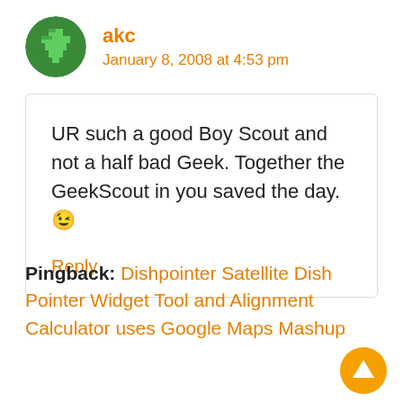[Figure (illustration): Green circular avatar with pixel-art style cross/shield icon]
akc
January 8, 2008 at 4:53 pm
UR such a good Boy Scout and not a half bad Geek. Together the GeekScout in you saved the day. 😉
Reply
Pingback: Dishpointer Satellite Dish Pointer Widget Tool and Alignment Calculator uses Google Maps Mashup